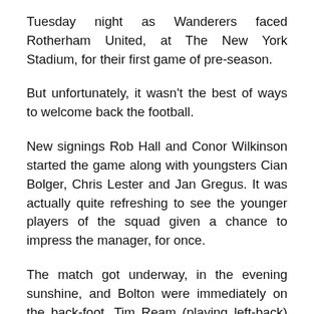Tuesday night as Wanderers faced Rotherham United, at The New York Stadium, for their first game of pre-season.
But unfortunately, it wasn't the best of ways to welcome back the football.
New signings Rob Hall and Conor Wilkinson started the game along with youngsters Cian Bolger, Chris Lester and Jan Gregus. It was actually quite refreshing to see the younger players of the squad given a chance to impress the manager, for once.
The match got underway, in the evening sunshine, and Bolton were immediately on the back-foot. Tim Ream (playing left-back) had to slice the ball clear from beneath his own crossbar, within the first couple of minutes.